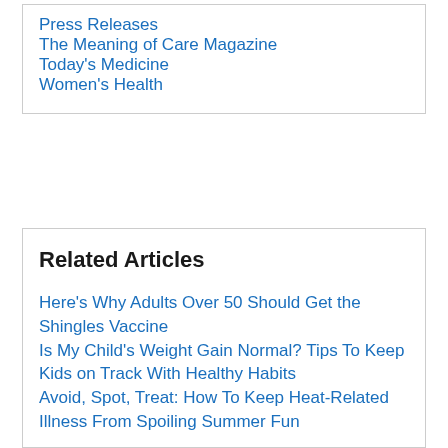Press Releases
The Meaning of Care Magazine
Today's Medicine
Women's Health
Related Articles
Here's Why Adults Over 50 Should Get the Shingles Vaccine
Is My Child's Weight Gain Normal? Tips To Keep Kids on Track With Healthy Habits
Avoid, Spot, Treat: How To Keep Heat-Related Illness From Spoiling Summer Fun